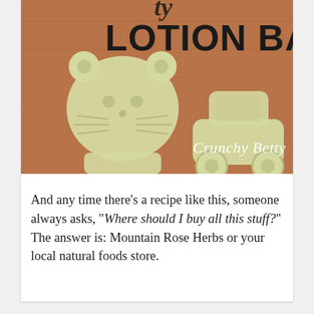[Figure (photo): Photo of lotion bars shaped like hello kitty and car figures in pale yellow/green color on a wooden surface. Text overlay reads 'LOTION BARS' in bold black and 'Crunchy Betty' in white cursive script at bottom right.]
And any time there's a recipe like this, someone always asks, "Where should I buy all this stuff?" The answer is: Mountain Rose Herbs or your local natural foods store.